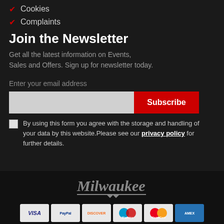✓ Cookies
✓ Complaints
Join the Newsletter
Get all the latest information on Events, Sales and Offers. Sign up for newsletter today.
Enter your email address
By using this form you agree with the storage and handling of your data by this website.Please see our privacy policy for further details.
[Figure (logo): Milwaukee brand logo in italic script with lightning bolt underline]
[Figure (other): Payment method icons: VISA, PayPal, DISCOVER, Maestro, MasterCard, American Express]